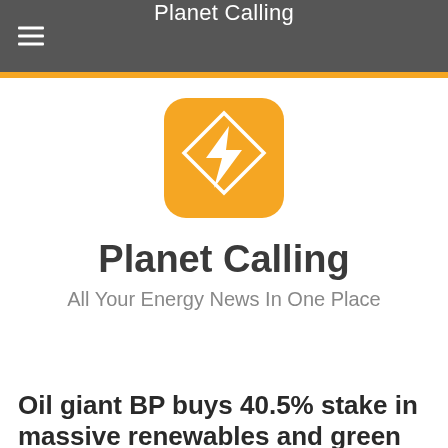Planet Calling
[Figure (logo): Orange rounded square app icon with a white diamond outline and white lightning bolt symbol inside]
Planet Calling
All Your Energy News In One Place
Oil giant BP buys 40.5% stake in massive renewables and green